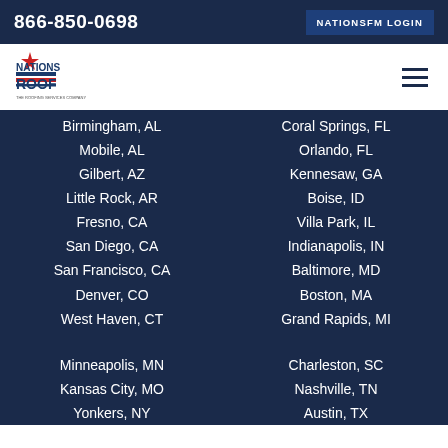866-850-0698  NATIONSFM LOGIN
[Figure (logo): Nations Roof logo with red star and text 'NATIONS ROOF - The Roofing Services Company']
Birmingham, AL
Mobile, AL
Gilbert, AZ
Little Rock, AR
Fresno, CA
San Diego, CA
San Francisco, CA
Denver, CO
West Haven, CT
Coral Springs, FL
Orlando, FL
Kennesaw, GA
Boise, ID
Villa Park, IL
Indianapolis, IN
Baltimore, MD
Boston, MA
Grand Rapids, MI
Minneapolis, MN
Kansas City, MO
Yonkers, NY
Charleston, SC
Nashville, TN
Austin, TX